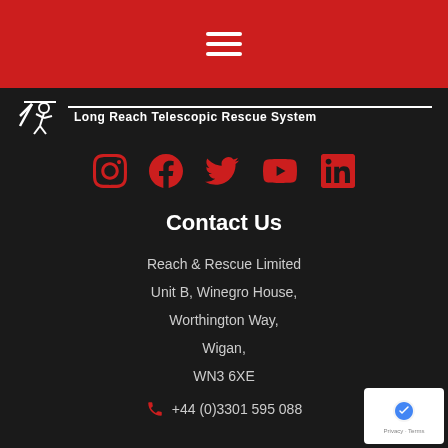[Figure (other): Red header bar with hamburger menu icon (three horizontal white lines)]
[Figure (logo): Reach & Rescue logo with stick figure icon and text 'Long Reach Telescopic Rescue System' on dark background]
[Figure (other): Social media icons row: Instagram, Facebook, Twitter, YouTube, LinkedIn — all in red on dark background]
Contact Us
Reach & Rescue Limited
Unit B, Winegro House,
Worthington Way,
Wigan,
WN3 6XE
+44 (0)3301 595 088